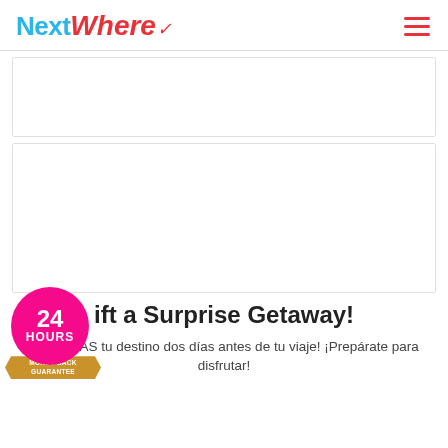NextWhere
[Figure (other): White rectangular ad placeholder box (top)]
[Figure (other): White rectangular ad placeholder box (main/center)]
[Figure (other): 24 HOURS MONEY-BACK GUARANTEE badge with pink circle and gold ribbon]
Gift a Surprise Getaway!
¡SABERÁS tu destino dos días antes de tu viaje! ¡Prepárate para disfrutar!